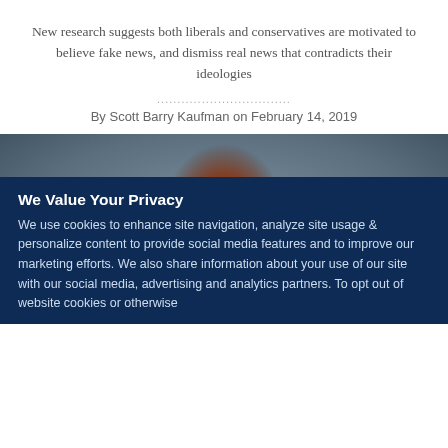New research suggests both liberals and conservatives are motivated to believe fake news, and dismiss real news that contradicts their ideologies
By Scott Barry Kaufman on February 14, 2019
[Figure (photo): Photo of a woman with reddish-brown hair looking downward, against a dark gray background]
We Value Your Privacy
We use cookies to enhance site navigation, analyze site usage & personalize content to provide social media features and to improve our marketing efforts. We also share information about your use of our site with our social media, advertising and analytics partners. To opt out of website cookies or otherwise